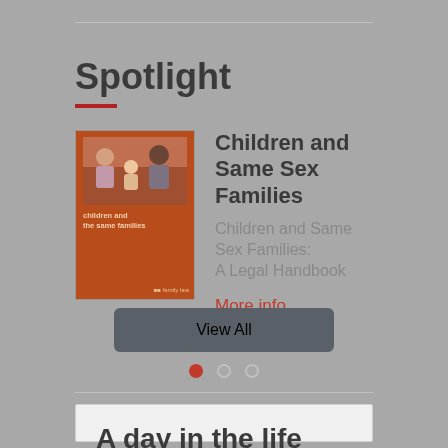Spotlight
[Figure (photo): Book cover of 'Children and Same Sex Families: A Legal Handbook' with a photo of a family on an orange/brown background]
Children and Same Sex Families
Children and Same Sex Families: A Legal Handbook
More info
View All
A day in the life Of...